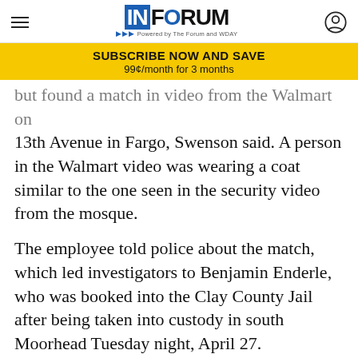INFORUM - Powered by The Forum and WDAY
SUBSCRIBE NOW AND SAVE
99¢/month for 3 months
but found a match in video from the Walmart on 13th Avenue in Fargo, Swenson said. A person in the Walmart video was wearing a coat similar to the one seen in the security video from the mosque.
The employee told police about the match, which led investigators to Benjamin Enderle, who was booked into the Clay County Jail after being taken into custody in south Moorhead Tuesday night, April 27.
[Figure (infographic): Advertisement banner: Local news you need. 3 months for 99¢/month. SUBSCRIBE TODAY button.]